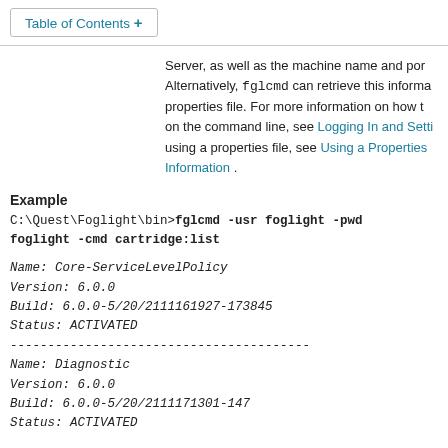Table of Contents +
Server, as well as the machine name and por Alternatively, fglcmd can retrieve this informa properties file. For more information on how t on the command line, see Logging In and Setti using a properties file, see Using a Properties Information .
Example
C:\Quest\Foglight\bin>fglcmd -usr foglight -pwd foglight -cmd cartridge:list
Name: Core-ServiceLevelPolicy
Version: 6.0.0
Build: 6.0.0-5/20/2111161927-173845
Status: ACTIVATED
----------------------------------------
Name: Diagnostic
Version: 6.0.0
Build: 6.0.0-5/20/2111171301-147
Status: ACTIVATED